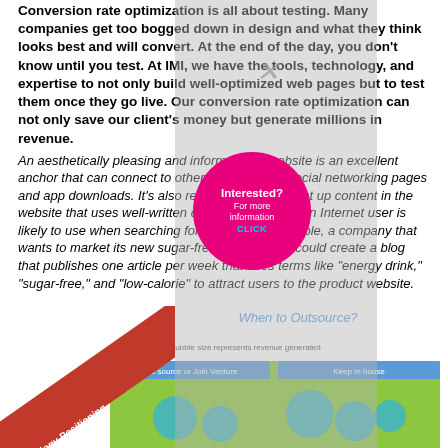Conversion rate optimization is all about testing. Many companies get too bogged down in design and what they think looks best and will convert. At the end of the day, you don't know until you test. At IMI, we have the tools, technology, and expertise to not only build well-optimized web pages but to test them once they go live. Our conversion rate optimization can not only save our client's money but generate millions in revenue.
An aesthetically pleasing and informational website is an excellent anchor that can connect to other platforms like social networking pages and app downloads. It's also relatively simple to set up content in the website that uses well-written content with words an Internet user is likely to use when searching for a topic. For example, a company that wants to market its new sugar-free energy drink could create a blog that publishes one article per week that uses terms like "energy drink," "sugar-free," and "low-calorie" to attract users to the product website.
[Figure (infographic): Pink circle button saying 'Interested? For more information CLICK']
[Figure (bubble-chart): When to Outsource? chart with Technology Positioning diagonal label, bubble size represents revenue generated, showing Core vs Out source or Join Venture vs Keep In house axes, with teal/blue bubbles on green background]